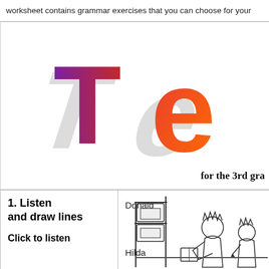worksheet contains grammar exercises that you can choose for your
[Figure (logo): Large stylized letters 'Te' logo with purple-to-red gradient T and orange-red e, with drop shadows, on white background]
for the 3rd gra
| 1. Listen and draw lines

Click to listen | Donald

Hilda |